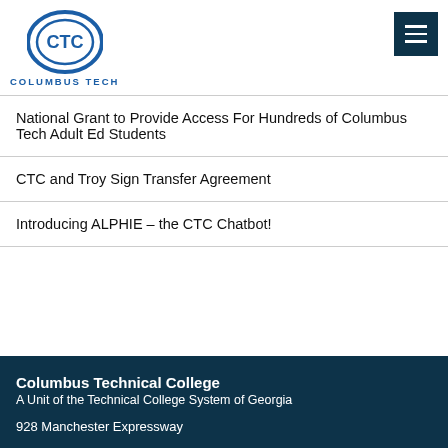[Figure (logo): Columbus Technical College CTC logo — blue oval with CTC text and COLUMBUS TECH beneath]
National Grant to Provide Access For Hundreds of Columbus Tech Adult Ed Students
CTC and Troy Sign Transfer Agreement
Introducing ALPHIE – the CTC Chatbot!
Columbus Technical College
A Unit of the Technical College System of Georgia
928 Manchester Expressway